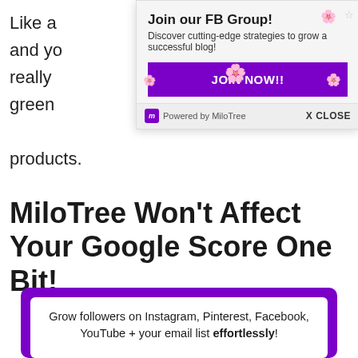Like a
and yo
really
green
products.
[Figure (screenshot): MiloTree popup widget promoting a Facebook Group: 'Join our FB Group! Discover cutting-edge strategies to grow a successful blog!' with a purple JOIN NOW!! button and 'Powered by MiloTree' footer with X CLOSE button.]
MiloTree Won’t Affect Your Google Score One Bit!
[Figure (infographic): MiloTree promotional graphic with purple border showing text 'Grow followers on Instagram, Pinterest, Facebook, YouTube + your email list effortlessly!' and a laptop screenshot below with MiloTree app interface shown, with navigation arrows on left and right.]